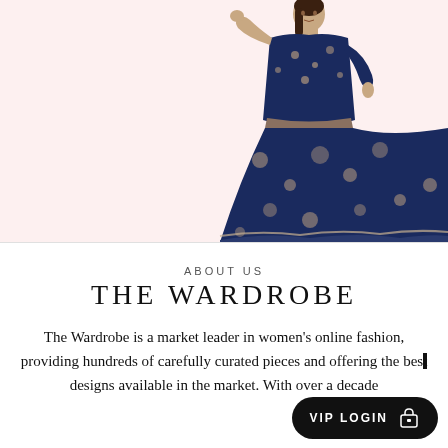[Figure (photo): A woman wearing a navy blue and pink floral long-sleeve midi dress, posed against a light pink background. She is standing and slightly turning, with one hand raised near her face.]
ABOUT US
THE WARDROBE
The Wardrobe is a market leader in women's online fashion, providing hundreds of carefully curated pieces and offering the best designs available in the market. With over a decade